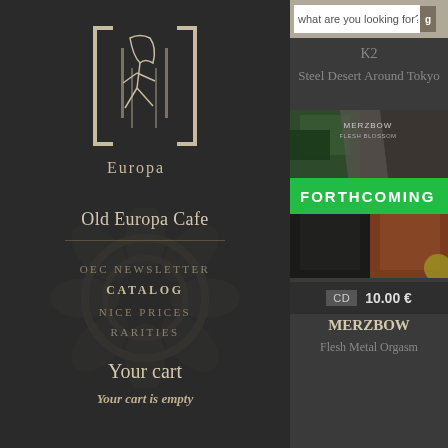[Figure (logo): Old Europa Cafe logo — stylized figure with text 'Europa' below, white line art on dark background]
Old Europa Cafe
OEC NEWSLETTER
CATALOG
NICE PRICES
RARITIES
Your cart
Your cart is empty
what are you looking for?
K2
Steel Desert Around Tokyo
[Figure (photo): Album artwork for Merzbow Flesh Metal Orgasm with FORTHCOMING green banner overlay — aerial industrial/nature photograph]
CD  10.00 €
MERZBOW
Flesh Metal Orgasm